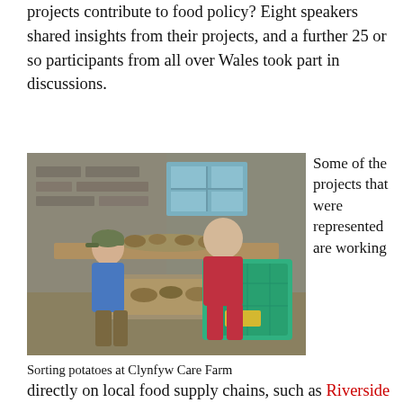projects contribute to food policy? Eight speakers shared insights from their projects, and a further 25 or so participants from all over Wales took part in discussions.
[Figure (photo): Two people sorting potatoes outdoors at a table, with a green plastic crate. One person wears a blue shirt and cap, the other wears a red polo shirt. Stone building with blue windows in background.]
Sorting potatoes at Clynfyw Care Farm
Some of the projects that were represented are working directly on local food supply chains, such as Riverside
directly on local food supply chains, such as Riverside